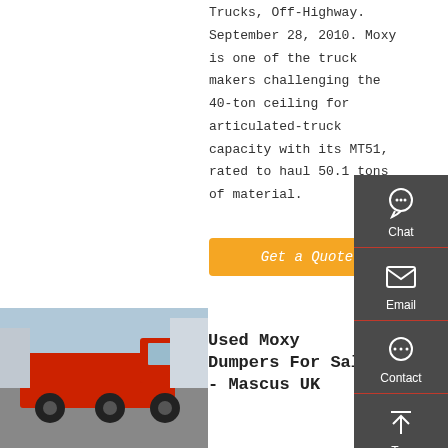Trucks, Off-Highway. September 28, 2010. Moxy is one of the truck makers challenging the 40-ton ceiling for articulated-truck capacity with its MT51, rated to haul 50.1 tons of material.
Get a Quote
[Figure (infographic): Sidebar with chat, email, contact, and top navigation icons on dark grey background]
[Figure (photo): Red Moxy dump truck parked outdoors]
Used Moxy Dumpers For Sale - Mascus UK